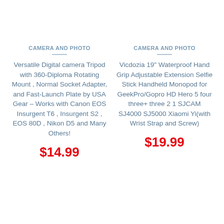CAMERA AND PHOTO
Versatile Digital camera Tripod with 360-Diploma Rotating Mount , Normal Socket Adapter, and Fast-Launch Plate by USA Gear – Works with Canon EOS Insurgent T6 , Insurgent S2 , EOS 80D , Nikon D5 and Many Others!
$14.99
CAMERA AND PHOTO
Vicdozia 19" Waterproof Hand Grip Adjustable Extension Selfie Stick Handheld Monopod for GeekPro/Gopro HD Hero 5 four three+ three 2 1 SJCAM SJ4000 SJ5000 Xiaomi Yi(with Wrist Strap and Screw)
$19.99